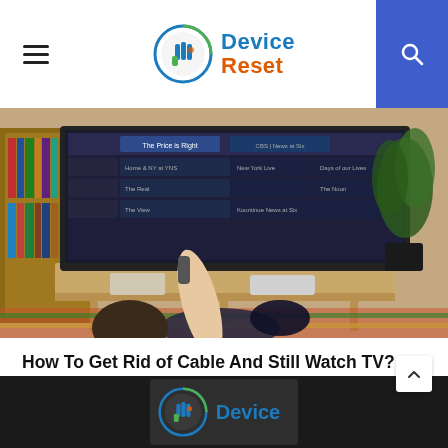Device Reset — hamburger menu, logo, search
[Figure (photo): Person lying on floor holding TV remote, pointing at a smart TV showing a cable/streaming guide with shows like The Price is Right, Days of our Lives, New York Live, The Real, The View, The Noon, Entertainment News. TV sits on a wooden media console with a bookshelf and plant visible in background.]
How To Get Rid of Cable And Still Watch TV?
by Kowshik Chanda  Nov 24, 2021  0
[Figure (logo): Device Reset logo — circular icon with hand/finger graphic in blue and green tones, with 'Device' in blue and 'Reset' in orange text, on dark footer background]